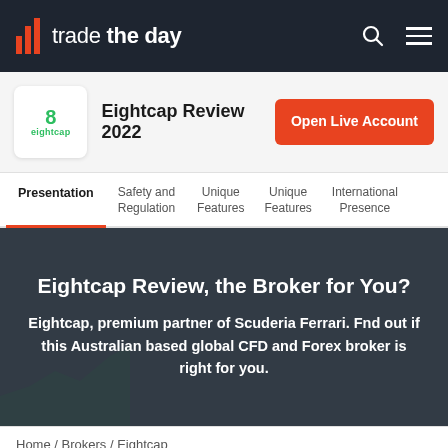trade the day
Eightcap Review 2022
Presentation | Safety and Regulation | Unique Features | Unique Features | International Presence
Eightcap Review, the Broker for You?
Eightcap, premium partner of Scuderia Ferrari. Fnd out if this Australian based global CFD and Forex broker is right for you.
Home / Brokers / Eightcap